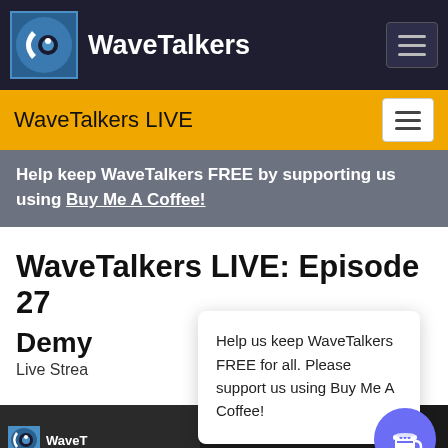WaveTalkers
WaveTalkers LIVE
Help keep WaveTalkers FREE by supporting us using Buy Me A Coffee!
WaveTalkers LIVE: Episode 27
Demy
Live Strea
Help us keep WaveTalkers FREE for all. Please support us using Buy Me A Coffee!
[Figure (screenshot): WaveTalkers logo and video thumbnail strip at bottom]